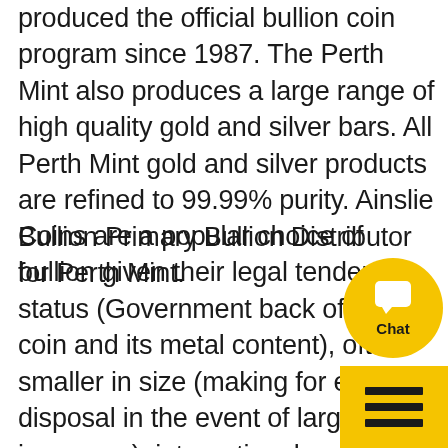produced the official bullion coin program since 1987. The Perth Mint also produces a large range of high quality gold and silver bars. All Perth Mint gold and silver products are refined to 99.99% purity. Ainslie Bullion Primary Bullion Distributor for Perth Mint.
Coins are a popular choice of bullion given their legal tender status (Government back of the coin and its metal content), often smaller in size (making for easier disposal in the event of large price increases), international recognition (no fuss tradability overseas) and portability. Another on advantage is mintage limits on ma government minted coins meaning a
[Figure (other): Yellow circular chat button with speech bubble icon and 'Chat' label, overlaid on the text content in the bottom-right area of the page]
[Figure (other): Yellow square menu button with three horizontal hamburger lines, positioned at bottom-right corner of the page]